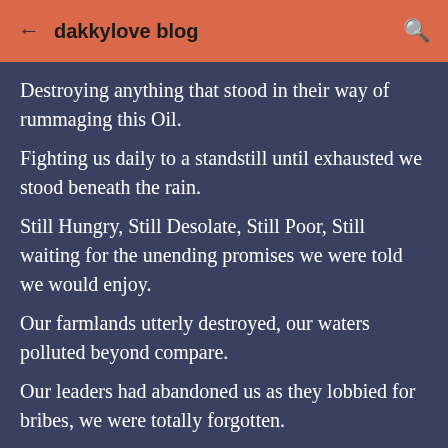dakkylove blog
Destroying anything that stood in their way of rummaging this Oil.
Fighting us daily to a standstill until exhausted we stood beneath the rain.
Still Hungry, Still Desolate, Still Poor, Still waiting for the unending promises we were told we would enjoy.
Our farmlands utterly destroyed, our waters polluted beyond compare.
Our leaders had abandoned us as they lobbied for bribes, we were totally forgotten.
Watching our children starve to death we cursed